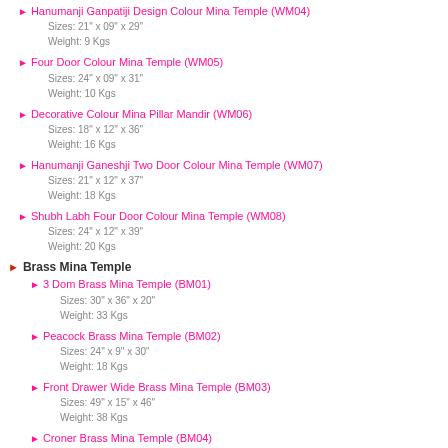Hanumanji Ganpatiji Design Colour Mina Temple (WM04)
Sizes: 21" x 09" x 29"
Weight: 9 Kgs
Four Door Colour Mina Temple (WM05)
Sizes: 24" x 09" x 31"
Weight: 10 Kgs
Decorative Colour Mina Pillar Mandir (WM06)
Sizes: 18" x 12" x 36"
Weight: 16 Kgs
Hanumanji Ganeshji Two Door Colour Mina Temple (WM07)
Sizes: 21" x 12" x 37"
Weight: 18 Kgs
Shubh Labh Four Door Colour Mina Temple (WM08)
Sizes: 24" x 12" x 39"
Weight: 20 Kgs
Brass Mina Temple
3 Dom Brass Mina Temple (BM01)
Sizes: 30" x 36" x 20"
Weight: 33 Kgs
Peacock Brass Mina Temple (BM02)
Sizes: 24" x 9" x 30"
Weight: 18 Kgs
Front Drawer Wide Brass Mina Temple (BM03)
Sizes: 49" x 15" x 46"
Weight: 38 Kgs
Croner Brass Mina Temple (BM04)
Sizes: 12" x 12" x 17"
Weight: 7 Kgs
Lord Ganesha Brass Mina Temple (BM05)